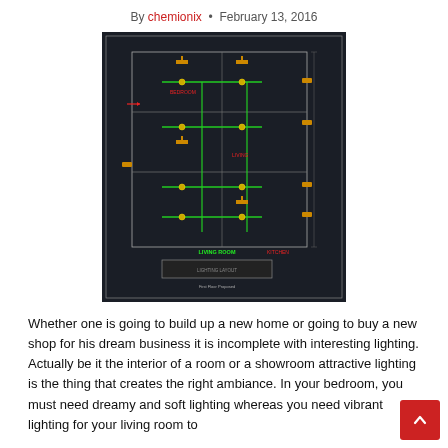By chemionix • February 13, 2016
[Figure (engineering-diagram): AutoCAD electrical/lighting layout plan for a first floor (First Floor Proposed), showing room layouts with lighting fixture symbols, wiring connections in green, red text annotations, and yellow fixture symbols on a dark background.]
Whether one is going to build up a new home or going to buy a new shop for his dream business it is incomplete with interesting lighting. Actually be it the interior of a room or a showroom attractive lighting is the thing that creates the right ambiance. In your bedroom, you must need dreamy and soft lighting whereas you need vibrant lighting for your living room to